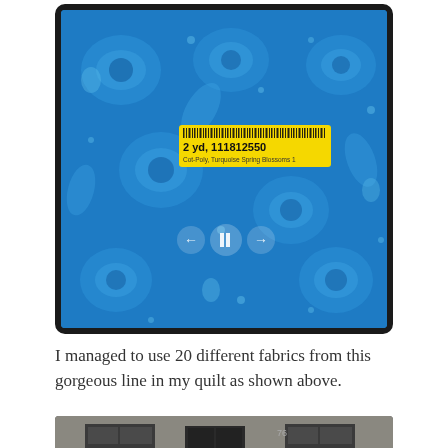[Figure (photo): A tablet or digital frame showing a close-up photo of blue floral batik fabric with a yellow barcode label reading '2 yd, 111812550' and subtitle text 'Cot-Poly, Turquoise Spring Blossoms 1'. Media playback controls (back, pause, forward) are overlaid at the bottom center.]
I managed to use 20 different fabrics from this gorgeous line in my quilt as shown above.
[Figure (photo): Partial photo of a building exterior showing dark doors and windows, partially cut off at the bottom of the page.]